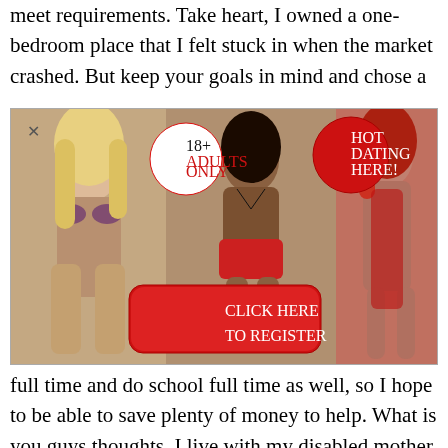meet requirements. Take heart, I owned a one-bedroom place that I felt stuck in when the market crashed. But keep your goals in mind and chose a
[Figure (photo): Adult dating advertisement banner with three women posing, an 18+ adults only badge, a 'HOT DATING HERE!' badge, and a red 'CLICK HERE TO REGISTER' button. Has a close (X) button in the top left.]
full time and do school full time as well, so I hope to be able to save plenty of money to help. What is you guys thoughts, I live with my disabled mother, helping her. I just wanted to know if that would be a problem.